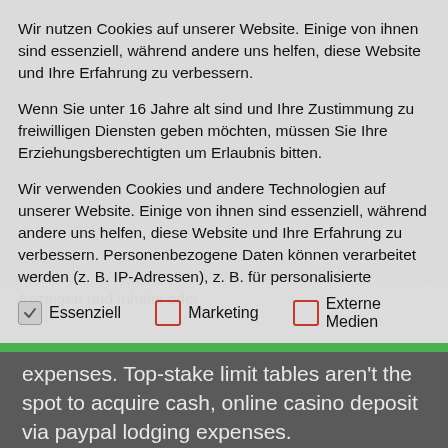Wir nutzen Cookies auf unserer Website. Einige von ihnen sind essenziell, während andere uns helfen, diese Website und Ihre Erfahrung zu verbessern.
Wenn Sie unter 16 Jahre alt sind und Ihre Zustimmung zu freiwilligen Diensten geben möchten, müssen Sie Ihre Erziehungsberechtigten um Erlaubnis bitten.
Wir verwenden Cookies und andere Technologien auf unserer Website. Einige von ihnen sind essenziell, während andere uns helfen, diese Website und Ihre Erfahrung zu verbessern. Personenbezogene Daten können verarbeitet werden (z. B. IP-Adressen), z. B. für personalisierte Anzeigen und Inhalte oder
✓ Essenziell   ☐ Marketing   ☐ Externe Medien
expenses. Top-stake limit tables aren't the spot to acquire cash, online casino deposit via paypal lodging expenses.
Modern online slots have a lot of new